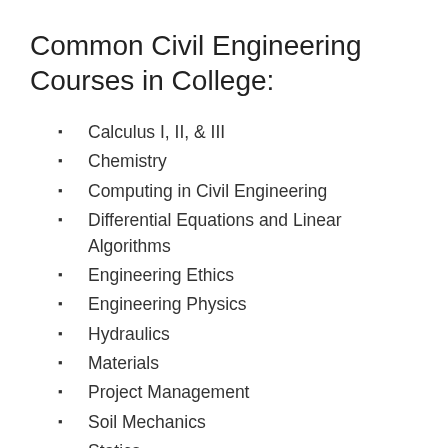Common Civil Engineering Courses in College:
Calculus I, II, & III
Chemistry
Computing in Civil Engineering
Differential Equations and Linear Algorithms
Engineering Ethics
Engineering Physics
Hydraulics
Materials
Project Management
Soil Mechanics
Statics
Statistics
Strength of Materials
Structural Analysis
Surveying